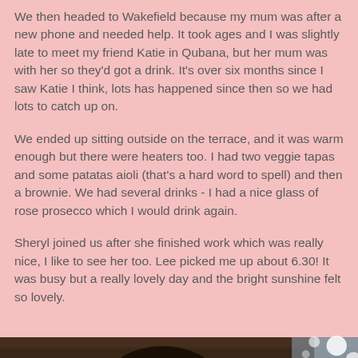We then headed to Wakefield because my mum was after a new phone and needed help. It took ages and I was slightly late to meet my friend Katie in Qubana, but her mum was with her so they'd got a drink. It's over six months since I saw Katie I think, lots has happened since then so we had lots to catch up on.
We ended up sitting outside on the terrace, and it was warm enough but there were heaters too. I had two veggie tapas and some patatas aioli (that's a hard word to spell) and then a brownie. We had several drinks - I had a nice glass of rose prosecco which I would drink again.
Sheryl joined us after she finished work which was really nice, I like to see her too. Lee picked me up about 6.30! It was busy but a really lovely day and the bright sunshine felt so lovely.
[Figure (photo): A photo of a person with dark hair and glasses, taken indoors with warm lighting. Background shows wooden slats and bokeh light circles.]